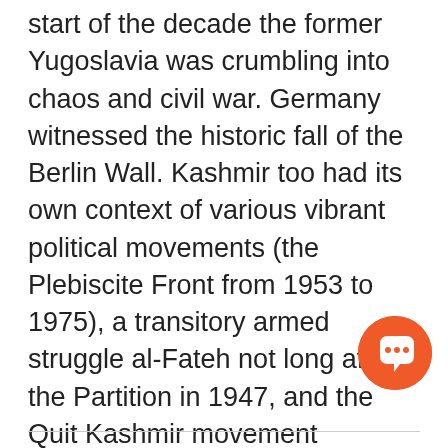start of the decade the former Yugoslavia was crumbling into chaos and civil war. Germany witnessed the historic fall of the Berlin Wall. Kashmir too had its own context of various vibrant political movements (the Plebiscite Front from 1953 to 1975), a transitory armed struggle al-Fateh not long after the Partition in 1947, and the Quit Kashmir movement launched by Sheikh Abdullah in the early 1940s against the despotic Dogra regime. Around the same time the world powers were engaged in a deadly conflict — the Second World War.